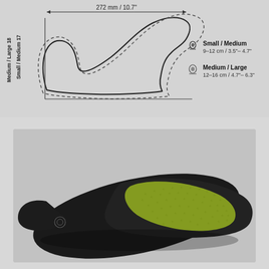[Figure (engineering-diagram): Bicycle saddle size diagram showing top profile view with two size variants: Small/Medium (solid line) and Medium/Large (dashed line). Width dimension arrow shows 272 mm / 10.7 inches. Rotated side labels indicate saddle sizes with height measurements (Small/Medium 17--, Medium/Large 18--). Legend shows sit-bone width ranges: Small/Medium 9-12 cm / 3.5"-4.7", Medium/Large 12-16 cm / 4.7"-6.3".]
[Figure (photo): Photograph of a bicycle saddle viewed from above at an angle. The saddle is predominantly black with a yellow-green textured padding area on the rear/seat portion. The saddle has a sleek aerodynamic shape.]